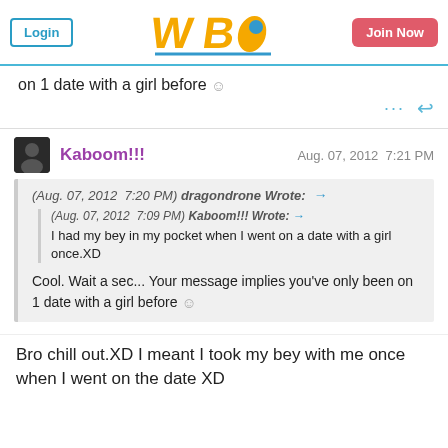WBO forum header with Login and Join Now buttons
on 1 date with a girl before 🙂
Kaboom!!!   Aug. 07, 2012  7:21 PM
(Aug. 07, 2012  7:20 PM) dragondrone Wrote: → (Aug. 07, 2012  7:09 PM) Kaboom!!! Wrote: → I had my bey in my pocket when I went on a date with a girl once.XD Cool. Wait a sec... Your message implies you've only been on 1 date with a girl before 🙂
Bro chill out.XD I meant I took my bey with me once when I went on the date XD